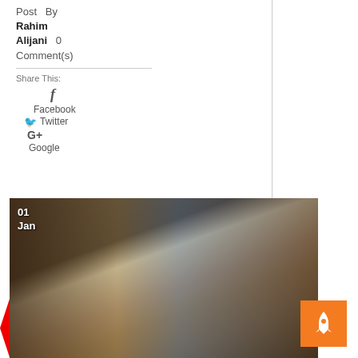Post By Rahim Alijani 0 Comment(s)
Share This:
f Facebook
Twitter
G+ Google
Read more
01 Jan
[Figure (photo): Kitchen interior with granite island countertop, copper farmhouse sink with black faucet, dark wood cabinets, stainless steel refrigerator, and decorative elements visible in background.]